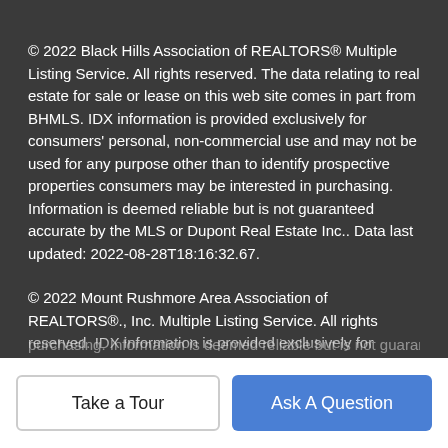© 2022 Black Hills Association of REALTORS® Multiple Listing Service. All rights reserved. The data relating to real estate for sale or lease on this web site comes in part from BHMLS. IDX information is provided exclusively for consumers' personal, non-commercial use and may not be used for any purpose other than to identify prospective properties consumers may be interested in purchasing. Information is deemed reliable but is not guaranteed accurate by the MLS or Dupont Real Estate Inc.. Data last updated: 2022-08-28T18:16:32.67.
© 2022 Mount Rushmore Area Association of REALTORS®., Inc. Multiple Listing Service. All rights reserved. IDX information is provided exclusively for consumers' personal, non-commercial use and may not be used for any purpose other than to identify prospective properties consumers may be interested in purchasing. Information is deemed reliable but is not guaranteed accurate by the MLS or Dupont Real Estate Inc..
Take a Tour | Ask A Question